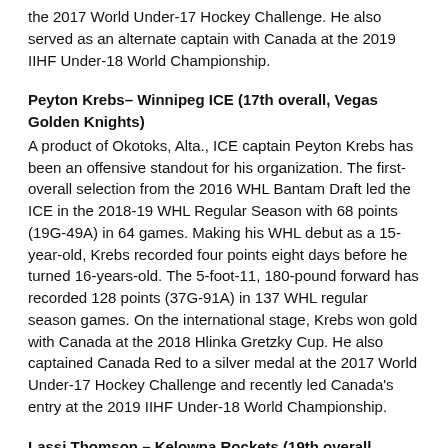the 2017 World Under-17 Hockey Challenge. He also served as an alternate captain with Canada at the 2019 IIHF Under-18 World Championship.
Peyton Krebs– Winnipeg ICE (17th overall, Vegas Golden Knights)
A product of Okotoks, Alta., ICE captain Peyton Krebs has been an offensive standout for his organization. The first-overall selection from the 2016 WHL Bantam Draft led the ICE in the 2018-19 WHL Regular Season with 68 points (19G-49A) in 64 games. Making his WHL debut as a 15-year-old, Krebs recorded four points eight days before he turned 16-years-old. The 5-foot-11, 180-pound forward has recorded 128 points (37G-91A) in 137 WHL regular season games. On the international stage, Krebs won gold with Canada at the 2018 Hlinka Gretzky Cup. He also captained Canada Red to a silver medal at the 2017 World Under-17 Hockey Challenge and recently led Canada's entry at the 2019 IIHF Under-18 World Championship.
Lassi Thomson – Kelowna Rockets (19th overall, Ottawa Senators)